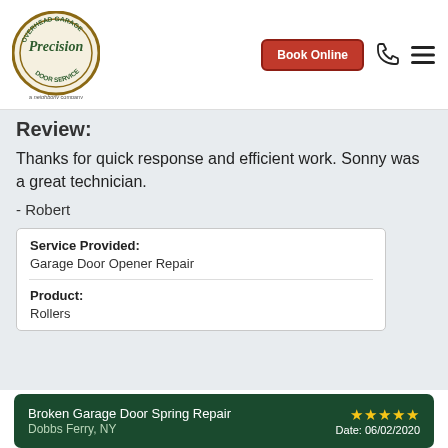[Figure (logo): Precision Overhead Garage Door Service logo — circular emblem with company name, a neighborly company tagline below]
Book Online
Review:
Thanks for quick response and efficient work. Sonny was a great technician.
- Robert
| Service Provided: | Garage Door Opener Repair |
| Product: | Rollers |
Broken Garage Door Spring Repair
Dobbs Ferry, NY
★★★★★
Date: 06/02/2020